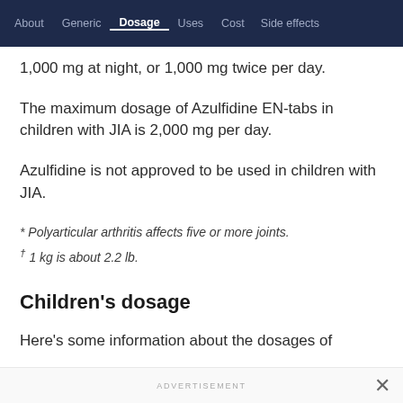About | Generic | Dosage | Uses | Cost | Side effects
1,000 mg at night, or 1,000 mg twice per day.
The maximum dosage of Azulfidine EN-tabs in children with JIA is 2,000 mg per day.
Azulfidine is not approved to be used in children with JIA.
* Polyarticular arthritis affects five or more joints.
† 1 kg is about 2.2 lb.
Children's dosage
Here's some information about the dosages of